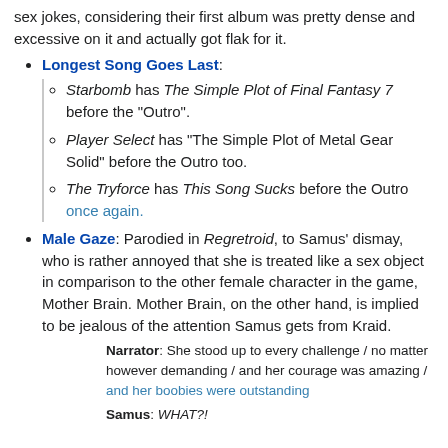sex jokes, considering their first album was pretty dense and excessive on it and actually got flak for it.
Longest Song Goes Last:
Starbomb has The Simple Plot of Final Fantasy 7 before the "Outro".
Player Select has "The Simple Plot of Metal Gear Solid" before the Outro too.
The Tryforce has This Song Sucks before the Outro once again.
Male Gaze: Parodied in Regretroid, to Samus' dismay, who is rather annoyed that she is treated like a sex object in comparison to the other female character in the game, Mother Brain. Mother Brain, on the other hand, is implied to be jealous of the attention Samus gets from Kraid.
Narrator: She stood up to every challenge / no matter however demanding / and her courage was amazing / and her boobies were outstanding
Samus: WHAT?!